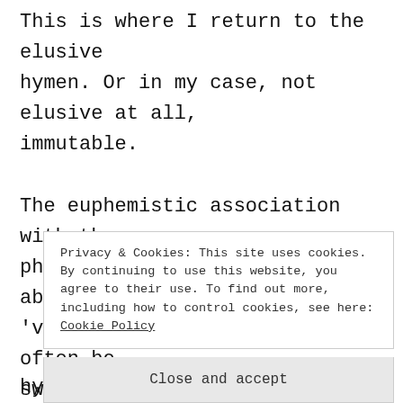This is where I return to the elusive hymen. Or in my case, not elusive at all, immutable.

The euphemistic association with the physical hymen with the abstract 'virginity' means that it can often be swept into the figurative pile and not seen for the body part that it is. We may have evolved genetically so to no longer
Privacy & Cookies: This site uses cookies. By continuing to use this website, you agree to their use. To find out more, including how to control cookies, see here: Cookie Policy
Close and accept
hymens by and large (though not